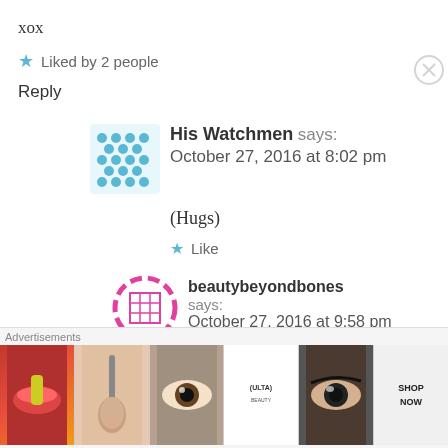xox
Liked by 2 people
Reply
His Watchmen says: October 27, 2016 at 8:02 pm
(Hugs)
Like
beautybeyondbones says: October 27, 2016 at 9:58 pm
[Figure (infographic): Ulta Beauty advertisement banner with makeup photos and SHOP NOW text]
Advertisements